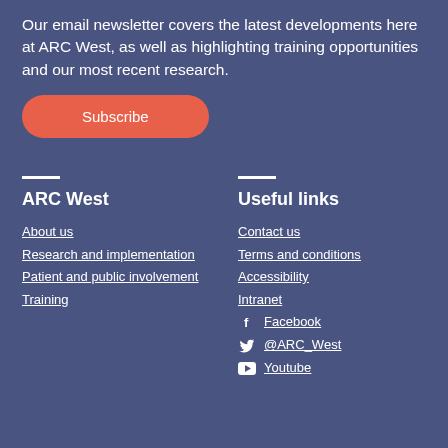Our email newsletter covers the latest developments here at ARC West, as well as highlighting training opportunities and our most recent research.
Subscribe
ARC West
About us
Research and implementation
Patient and public involvement
Training
Useful links
Contact us
Terms and conditions
Accessibility
Intranet
Facebook
@ARC_West
Youtube